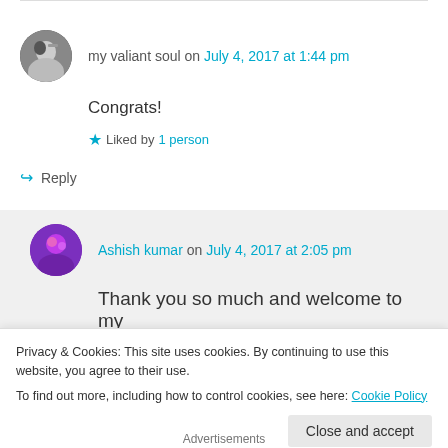my valiant soul on July 4, 2017 at 1:44 pm
Congrats!
Liked by 1 person
↪ Reply
Ashish kumar on July 4, 2017 at 2:05 pm
Thank you so much and welcome to my
Privacy & Cookies: This site uses cookies. By continuing to use this website, you agree to their use.
To find out more, including how to control cookies, see here: Cookie Policy
Close and accept
Advertisements